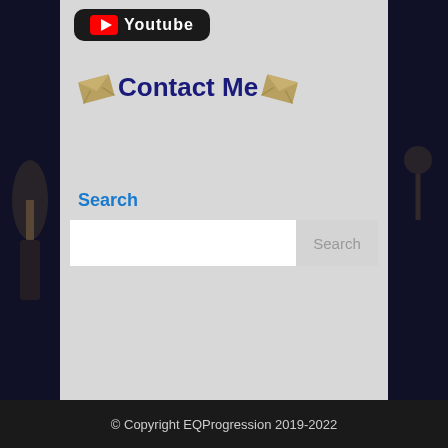[Figure (logo): YouTube logo button with red play icon and white 'Youtube' text on dark rounded rectangle background, partially visible at top]
✉ Contact Me ✉
Search
[Figure (screenshot): Search input box with white text field and gray Search button]
© Copyright EQProgression 2019-2022